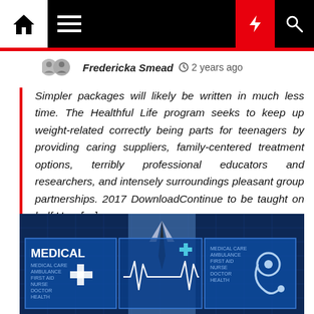Navigation bar with home, menu, moon, flash, search icons
Fredericka Smead  2 years ago
Simpler packages will likely be written in much less time. The Healthful Life program seeks to keep up weight-related correctly being parts for teenagers by providing caring suppliers, family-centered treatment options, terribly professional educators and researchers, and intensely surroundings pleasant group partnerships. 2017 DownloadContinue to be taught on half How […]
[Figure (photo): Medical themed image showing a doctor in a shirt and tie with digital panels displaying the words MEDICAL, MEDICAL CARE, AMBULANCE, FIRST AID, NURSE, DOCTOR, HEALTH along with a cross symbol, heartbeat line, and stethoscope icon on a blue background]